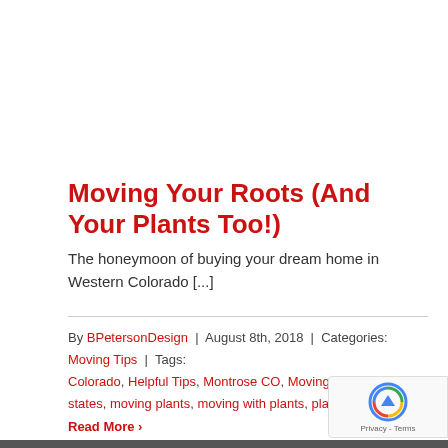Moving Your Roots (And Your Plants Too!)
The honeymoon of buying your dream home in Western Colorado [...]
By BPetersonDesign | August 8th, 2018 | Categories: Moving Tips | Tags: Colorado, Helpful Tips, Montrose CO, Moving, moving across states, moving plants, moving with plants, plants, Real Estate
Read More >